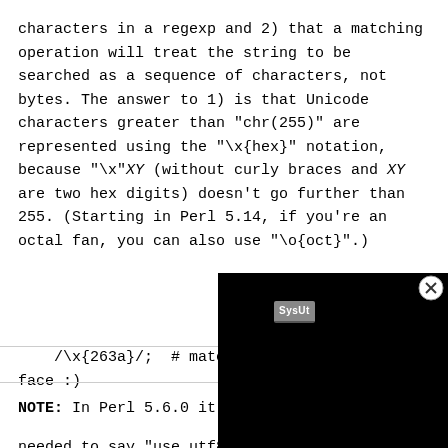characters in a regexp and 2) that a matching operation will treat the string to be searched as a sequence of characters, not bytes. The answer to 1) is that Unicode characters greater than "chr(255)" are represented using the "\x{hex}" notation, because "\x"XY (without curly braces and XY are two hex digits) doesn't go further than 255. (Starting in Perl 5.14, if you're an octal fan, you can also use "\o{oct}".)
NOTE: In Perl 5.6.0 it u... needed to say "use utf8"... features. This is no mor... almost all Unicode proce... "utf8" pragma is not nee...
[Figure (screenshot): A dark overlay/popup with a SysUt badge label and a close button (circled X), covering the bottom-right portion of the page.]